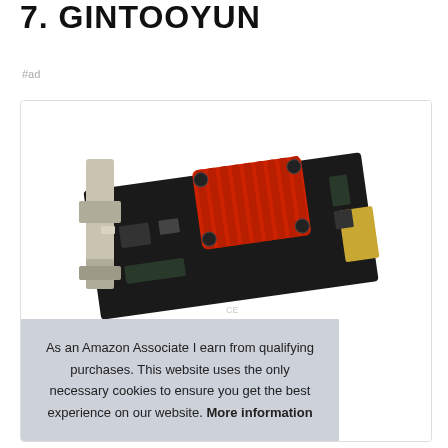7. GINTOOYUN
#ad
[Figure (photo): A PCIe expansion card with a red heatsink on a black PCB, with a silver bracket, shown at an angle on a white background.]
As an Amazon Associate I earn from qualifying purchases. This website uses the only necessary cookies to ensure you get the best experience on our website. More information